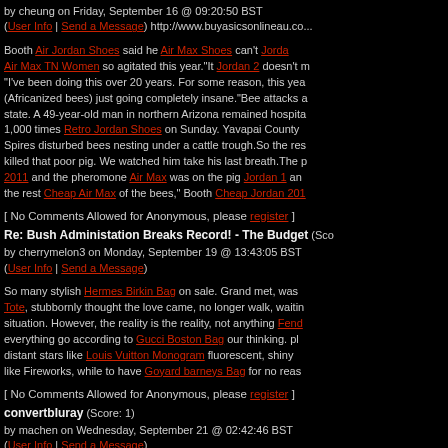by cheung on Friday, September 16 @ 09:20:50 BST
(User Info | Send a Message) http://www.buyasicsonlineau.co...
Booth Air Jordan Shoes said he Air Max Shoes can't Jordan Air Max TN Women so agitated this year."It Jordan 2 doesn't matter. "I've been doing this over 20 years. For some reason, this year (Africanized bees) just going completely insane."Bee attacks a state. A 49-year-old man in northern Arizona remained hospita 1,000 times Retro Jordan Shoes on Sunday. Yavapai County Spires disturbed bees nesting under a cattle trough.So the res killed that poor pig. We watched him take his last breath.The p 2011 and the pheromone Air Max was on the pig Jordan 1 and the rest Cheap Air Max of the bees," Booth Cheap Jordan 201
[ No Comments Allowed for Anonymous, please register ]
Re: Bush Administation Breaks Record! - The Budget (Score...)
by cherrymelon3 on Monday, September 19 @ 13:43:05 BST
(User Info | Send a Message)
So many stylish Hermes Birkin Bag on sale. Grand met, was Tote, stubbornly thought the love came, no longer walk, waitin situation. However, the reality is the reality, not anything Fend everything go according to Gucci Boston Bag our thinking. pl distant stars like Louis Vuitton Monogram fluorescent, shiny like Fireworks, while to have Goyard barneys Bag for no reas
[ No Comments Allowed for Anonymous, please register ]
convertbluray (Score: 1)
by machen on Wednesday, September 21 @ 02:42:46 BST
(User Info | Send a Message)
Blu ray converter is ontworpen voor back-up van uw favoriete door het omzetten van Blu-ray DVD naar SD video-formaten, C Ray Maczoals AVI, DivX, XviD, DVD, WMV, MPEG4 MOV, MK enkel slechts 10% van de grootte. Converteren Blu Ray naar A Blue Ray Converter ondersteunt het omzetten van Blu-ray op HD-MOV, AVC, WMV HD, etc. Converteren Blu Ray naar MP Converteren Blu Ray naar H265 Met geoptimaliseerde algor...